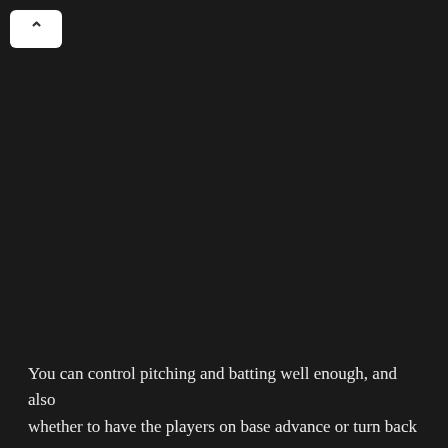[Figure (screenshot): Dark background UI screenshot with a white collapse/chevron button in the top-left corner and body text at the bottom]
You can control pitching and batting well enough, and also whether to have the players on base advance or turn back